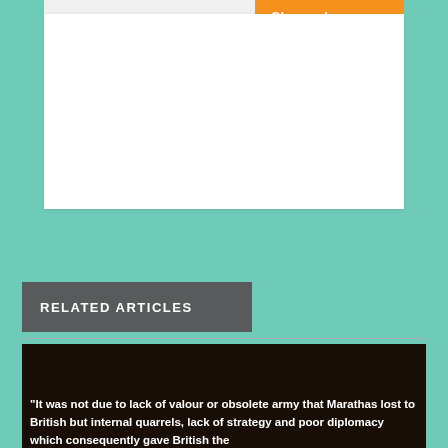[Figure (screenshot): Website header for selfstudyhistory with logo and Change Language button]
RELATED ARTICLES
[Figure (photo): Dark brown/black image placeholder with IMAGE NOT FOUND text and Selfstudyhistory.Com badge]
“It was not due to lack of valour or obsolete army that Marathas lost to British but internal quarrels, lack of strategy and poor diplomacy which consequently gave British the